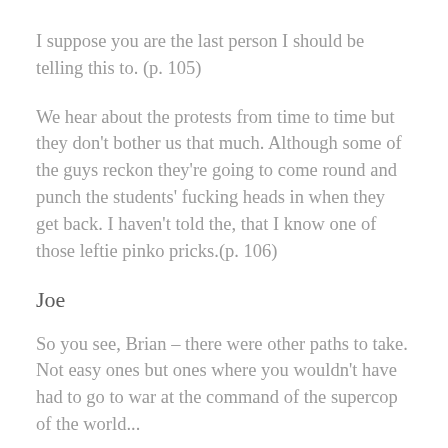I suppose you are the last person I should be telling this to. (p. 105)
We hear about the protests from time to time but they don't bother us that much. Although some of the guys reckon they're going to come round and punch the students' fucking heads in when they get back. I haven't told the, that I know one of those leftie pinko pricks.(p. 106)
Joe
So you see, Brian – there were other paths to take. Not easy ones but ones where you wouldn't have had to go to war at the command of the supercop of the world...